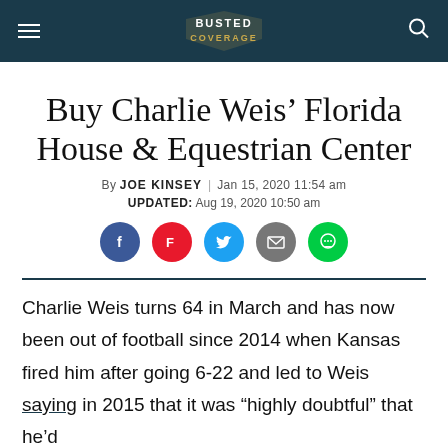Busted Coverage
Buy Charlie Weis' Florida House & Equestrian Center
By JOE KINSEY | Jan 15, 2020 11:54 am
UPDATED: Aug 19, 2020 10:50 am
[Figure (other): Social sharing icons: Facebook, Flipboard, Twitter, Email, Message]
Charlie Weis turns 64 in March and has now been out of football since 2014 when Kansas fired him after going 6-22 and led to Weis saying in 2015 that it was “highly doubtful” that he’d